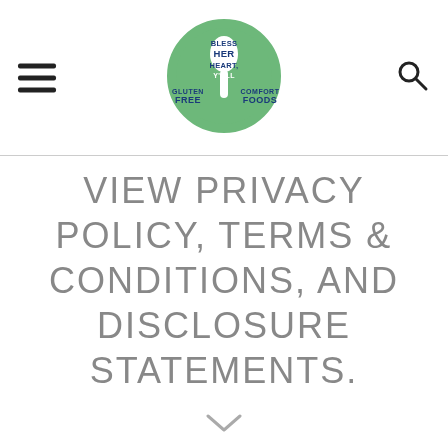[Figure (logo): Bless Her Heart Y'All Gluten Free Comfort Foods circular logo with green background and white/blue text]
VIEW PRIVACY POLICY, TERMS & CONDITIONS, AND DISCLOSURE STATEMENTS.